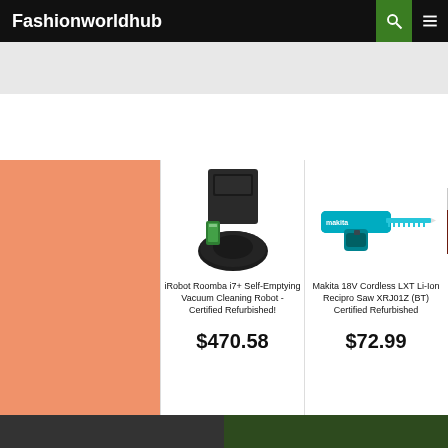Fashionworldhub
[Figure (screenshot): eBay advertisement banner with logo and two product listings: iRobot Roomba i7+ Self-Emptying Vacuum Cleaning Robot - Certified Refurbished! at $470.58, and Makita 18V Cordless LXT Li-Ion Recipro Saw XRJ01Z (BT) Certified Refurbished at $72.99]
iRobot Roomba i7+ Self-Emptying Vacuum Cleaning Robot - Certified Refurbished!
$470.58
Makita 18V Cordless LXT Li-Ion Recipro Saw XRJ01Z (BT) Certified Refurbished
$72.99